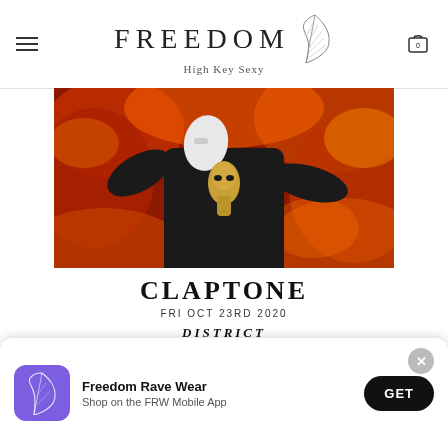FREEDOM High Key Sexy
[Figure (photo): Concert event promotional image for Claptone showing a masked figure in black with hands raised against a fiery red background]
CLAPTONE
FRI OCT 23RD 2020
DISTRICT
200 ARMOUR DRIVE, ATLANTA, GA
TICKETS: LIQUIFIED.COM OR DISTRICTATLANTA.COM
[Figure (infographic): App install banner: Freedom Rave Wear - Shop on the FRW Mobile App with GET button]